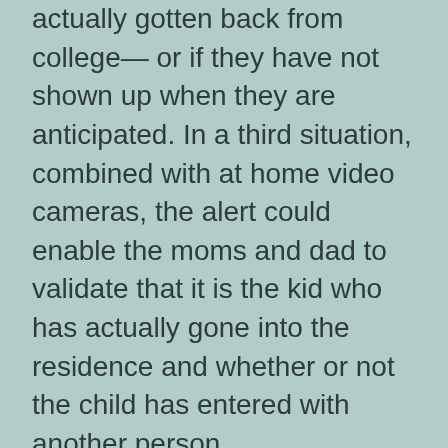actually gotten back from college— or if they have not shown up when they are anticipated. In a third situation, combined with at home video cameras, the alert could enable the moms and dad to validate that it is the kid who has actually gone into the residence and whether or not the child has entered with another person.
Experts in the field describe myriad other scenarios, ranging from the basic as well as anticipated, such as securing the doors, activating the sprinklers or establishing the alarm from another location after you have